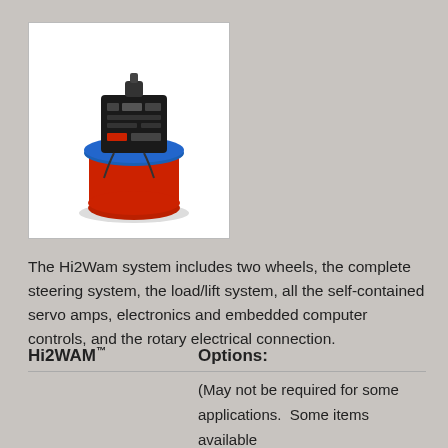[Figure (photo): Hi2Wam module unit — a compact robotic wheel assembly with red cylindrical body, black top with connector, blue ring accent, and drive electronics mounted on white background.]
The Hi2Wam system includes two wheels, the complete steering system, the load/lift system, all the self-contained servo amps, electronics and embedded computer controls, and the rotary electrical connection.
Hi2WAM™     Options:
(May not be required for some applications.  Some items available through the CYCOGS Company or your supplier.)